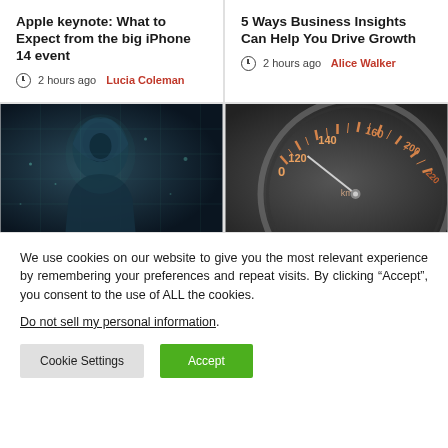Apple keynote: What to Expect from the big iPhone 14 event
2 hours ago  Lucia Coleman
5 Ways Business Insights Can Help You Drive Growth
2 hours ago  Alice Walker
[Figure (photo): Dark blue/teal image of a hooded hacker figure with digital map overlay]
[Figure (photo): Close-up of a car speedometer with orange/amber markings showing 120, 140, 160 km/h]
We use cookies on our website to give you the most relevant experience by remembering your preferences and repeat visits. By clicking “Accept”, you consent to the use of ALL the cookies.
Do not sell my personal information.
Cookie Settings
Accept